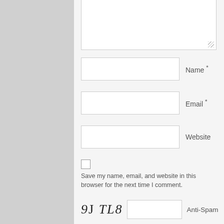[Figure (screenshot): A web comment form showing a large textarea at the top (partially visible), followed by Name, Email, and Website input fields each with a label to the right, a checkbox with 'Save my name, email, and website in this browser for the next time I comment.' text, and a CAPTCHA row showing '9J TL8' in stylized serif font with an input box and 'Anti-Spam' label.]
Name *
Email *
Website
Save my name, email, and website in this browser for the next time I comment.
9J TL8
Anti-Spam